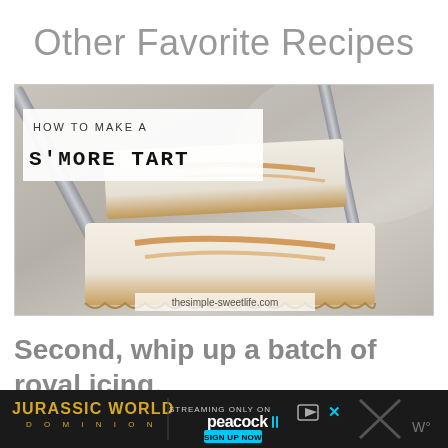Other Favorite Recipes
[Figure (photo): Photo of s'more tart slices with white meringue topping and caramel drizzle, with text overlay reading 'HOW TO MAKE A S'MORE TART' and website watermark 'thesimple-sweetlife.com']
Second, whip up a batch of royal icing.
[Figure (infographic): Jurassic World Dominion advertisement banner: 'JURASSIC WORLD DOMINION - STREAMING ONLY ON peacock - SIGN UP NOW']